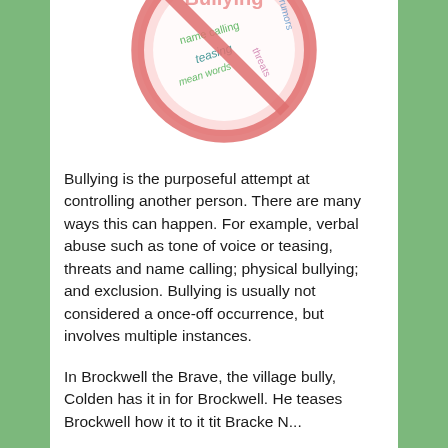[Figure (illustration): A 'No Bullying' sign — a circle with a diagonal red line through it (like a prohibition sign), containing the words 'Bullying' at top and various bullying-related words inside: 'name calling', 'teasing', 'mean words', 'threats', 'rumors' in different colors (green, teal, pink, blue).]
Bullying is the purposeful attempt at controlling another person. There are many ways this can happen. For example, verbal abuse such as tone of voice or teasing, threats and name calling; physical bullying; and exclusion. Bullying is usually not considered a once-off occurrence, but involves multiple instances.
In Brockwell the Brave, the village bully, Colden has it in for Brockwell. He teases Brockwell how it to it tit Braclw N...